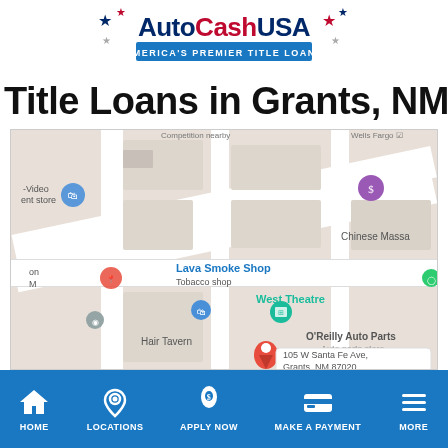[Figure (logo): AutoCashUSA logo with stars and tagline 'AMERICA'S PREMIER TITLE LOANS']
Title Loans in Grants, NM
[Figure (map): Google Maps screenshot showing area around 105 W Santa Fe Ave, Grants, NM 87020 with nearby landmarks including Lava Smoke Shop, West Theatre, Hair Tavern, O'Reilly Auto Parts, Chinese Massa]
HOME | LOCATIONS | APPLY NOW | MAKE A PAYMENT | MORE